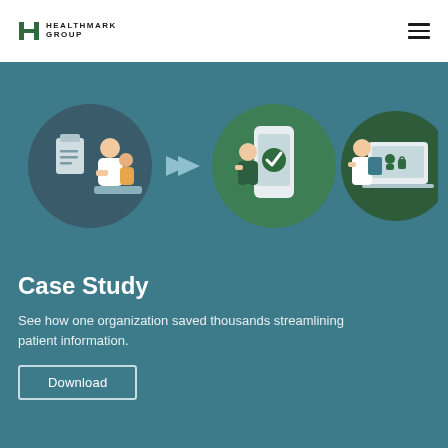HEALTHMARK GROUP
[Figure (illustration): Three-step process illustration on teal background: Step 1 shows a woman and child sitting on a couch reading from a tablet, next to a clipboard icon in a dark circle; Step 2 shows an elderly woman using a smartphone with a green checkmark, next to a large smartphone graphic in a green circle; Step 3 shows a doctor in a white coat holding a clipboard next to a laptop displaying a user/lock icon, in a dark green circle. Blue arrow chevrons connect each step.]
Case Study
See how one organization saved thousands streamlining patient information.
Download